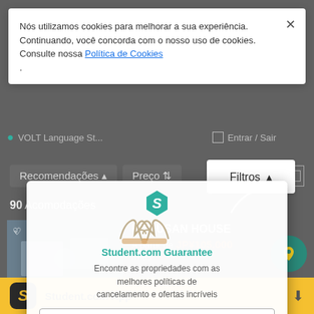Nós utilizamos cookies para melhorar a sua experiência. Continuando, você concorda com o nosso uso de cookies. Consulte nossa Política de Cookies .
[Figure (screenshot): Background screenshot of student accommodation listing website with dimmed overlay, showing filter controls (Recomendações, Preço, Filtros), listing count '90 Acomodações', and two property cards: HAKUSAN HOUSE at JP¥105.000/mês and Bunkyo joshi gakusei Heights at JP¥49.500/mês]
[Figure (infographic): Student.com Guarantee popup with teal hexagon logo, two hands holding icons, title 'Student.com Guarantee', description text about best cancellation policies and offers, and a 'Percebi' button]
Student.com Guarantee
Encontre as propriedades com as melhores políticas de cancelamento e ofertas incríveis
Percebi
Student.com App